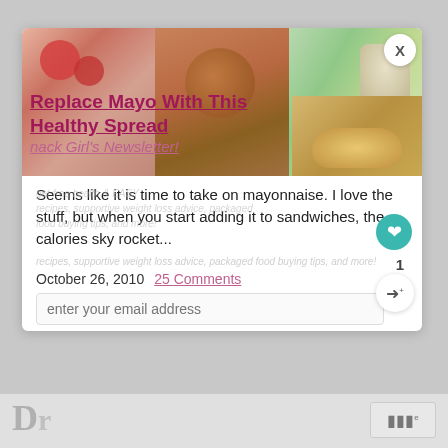[Figure (photo): Food collage image strip showing three panels: left panel with red berries/strawberries, center panel with a brown bowl of food, right panel with green plate items. Small inset food image at bottom right.]
Replace Mayo With This Healthy Spread
Snack Girl's Newsletter!
Seems like it is time to take on mayonnaise. I love the stuff, but when you start adding it to sandwiches, the calories sky rocket...
recipes, supportive weight loss advice, packaged food buying tips, and more!
October 26, 2010  25 Comments
enter your email address